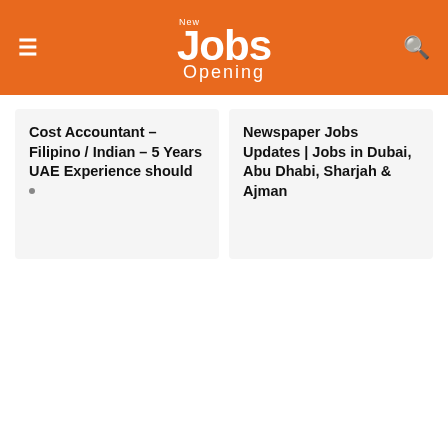New Jobs Opening
Cost Accountant – Filipino / Indian – 5 Years UAE Experience should
Newspaper Jobs Updates | Jobs in Dubai, Abu Dhabi, Sharjah & Ajman